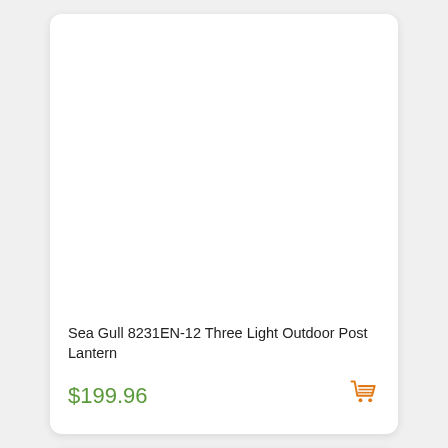[Figure (photo): Product card with white background image area for Sea Gull outdoor post lantern]
Sea Gull 8231EN-12 Three Light Outdoor Post Lantern
$199.96
[Figure (illustration): Orange shopping cart icon]
[Figure (photo): Second product card partially visible at bottom of page]